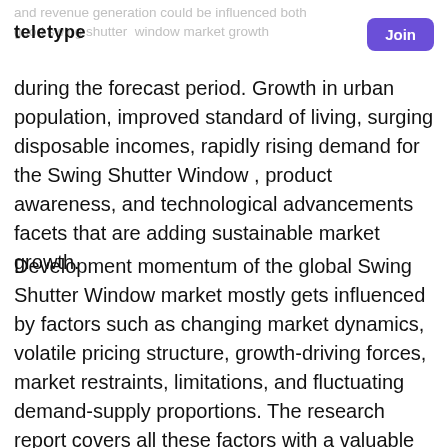and revenue generation could be influenced both good swing shutter window market growth
TELETYPE | Join
during the forecast period. Growth in urban population, improved standard of living, surging disposable incomes, rapidly rising demand for the Swing Shutter Window , product awareness, and technological advancements facets that are adding sustainable market growth.
Development momentum of the global Swing Shutter Window market mostly gets influenced by factors such as changing market dynamics, volatile pricing structure, growth-driving forces, market restraints, limitations, and fluctuating demand-supply proportions. The research report covers all these factors with a valuable analysis that helps market players in operating their business. Models such as SWOT and Porter's Five Forces are also